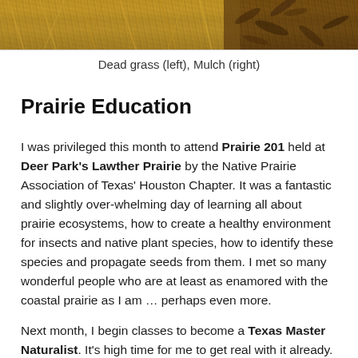[Figure (photo): Close-up photo of dead grass (left side, tan/golden dried grass) and mulch (right side, dark brown organic material)]
Dead grass (left), Mulch (right)
Prairie Education
I was privileged this month to attend Prairie 201 held at Deer Park's Lawther Prairie by the Native Prairie Association of Texas' Houston Chapter. It was a fantastic and slightly over-whelming day of learning all about prairie ecosystems, how to create a healthy environment for insects and native plant species, how to identify these species and propagate seeds from them. I met so many wonderful people who are at least as enamored with the coastal prairie as I am ... perhaps even more.
Next month, I begin classes to become a Texas Master Naturalist. It's high time for me to get real with it already.